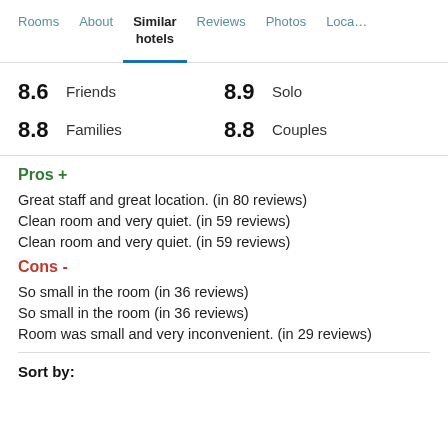Rooms | About | Similar hotels | Reviews | Photos | Loca…
8.6 Friends   8.9 Solo
8.8 Families   8.8 Couples
Pros +
Great staff and great location. (in 80 reviews)
Clean room and very quiet. (in 59 reviews)
Clean room and very quiet. (in 59 reviews)
Cons -
So small in the room (in 36 reviews)
So small in the room (in 36 reviews)
Room was small and very inconvenient. (in 29 reviews)
Sort by: